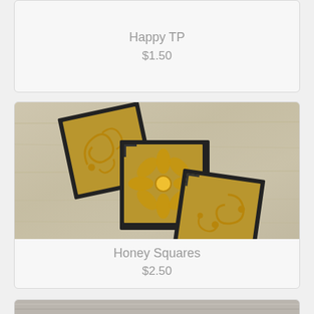Happy TP
$1.50
[Figure (photo): Three decorative square panels with yellow/gold floral and swirl cutout designs on a light wood background, arranged diagonally.]
Honey Squares
$2.50
[Figure (photo): Partially visible product image at the bottom of the page showing a light gray/beige textured surface.]